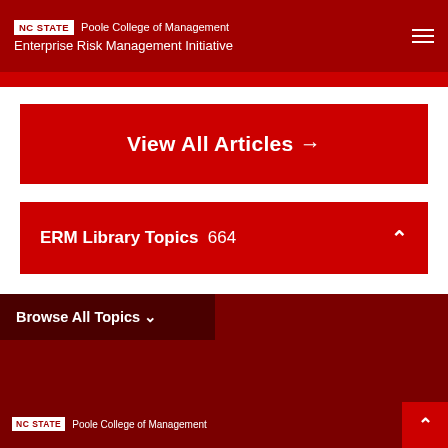NC STATE | Poole College of Management Enterprise Risk Management Initiative
View All Articles →
ERM Library Topics 664
Browse All Topics ∨
NC STATE | Poole College of Management